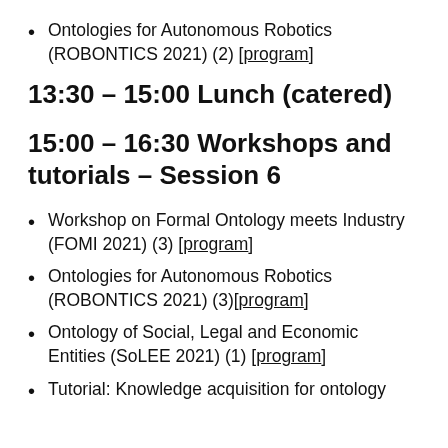Ontologies for Autonomous Robotics (ROBONTICS 2021) (2) [program]
13:30 – 15:00 Lunch (catered)
15:00 – 16:30 Workshops and tutorials – Session 6
Workshop on Formal Ontology meets Industry (FOMI 2021) (3) [program]
Ontologies for Autonomous Robotics (ROBONTICS 2021) (3)[program]
Ontology of Social, Legal and Economic Entities (SoLEE 2021) (1) [program]
Tutorial: Knowledge acquisition for ontology